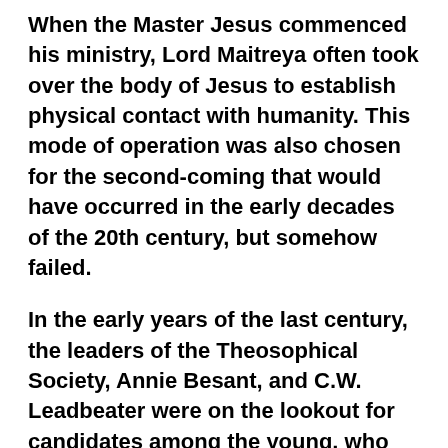When the Master Jesus commenced his ministry, Lord Maitreya often took over the body of Jesus to establish physical contact with humanity. This mode of operation was also chosen for the second-coming that would have occurred in the early decades of the 20th century, but somehow failed.
In the early years of the last century, the leaders of the Theosophical Society, Annie Besant, and C.W. Leadbeater were on the lookout for candidates among the young, who would be the vehicle for Lord Maitreya's second-coming–just as Tibetan Lamas would search for their "tulkus," or incarnations of Dalai Lamas and other spiritual dignitaries. They discovered one exceptional child of Indian origin: Krishnamurti. They eventually took him and his brother under their wing, educated them and trained the young